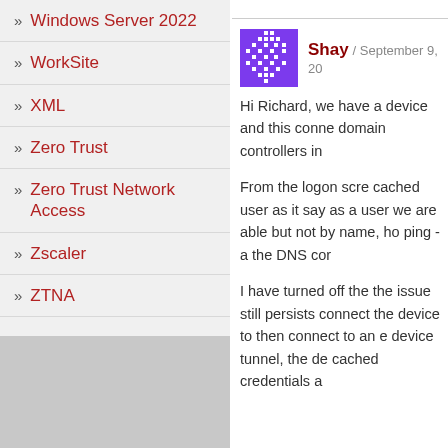Windows Server 2022
WorkSite
XML
Zero Trust
Zero Trust Network Access
Zscaler
ZTNA
Shay / September 9, 20...
Hi Richard, we have a device and this conne domain controllers in

From the logon scre cached user as it say as a user we are able but not by name, ho ping -a the DNS cor

I have turned off the the issue still persists connect the device to then connect to an e device tunnel, the de cached credentials a